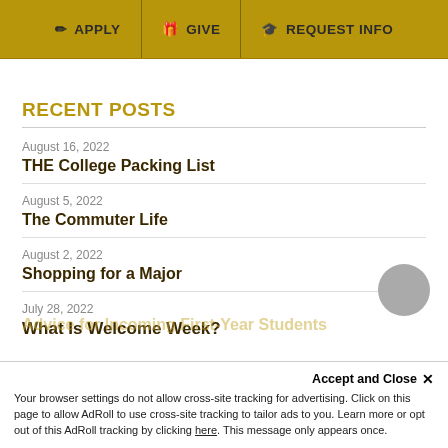APPLY | GIVE | REQUEST INFO
RECENT POSTS
August 16, 2022
THE College Packing List
August 5, 2022
The Commuter Life
August 2, 2022
Shopping for a Major
July 28, 2022
What Is Welcome Week?
Advice for Incoming First-Year Students
Accept and Close ×
Your browser settings do not allow cross-site tracking for advertising. Click on this page to allow AdRoll to use cross-site tracking to tailor ads to you. Learn more or opt out of this AdRoll tracking by clicking here. This message only appears once.